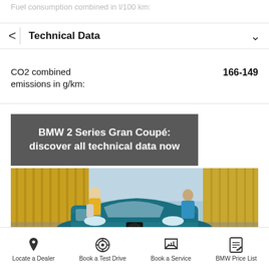Fuel consumption combined in l/100 km:
Technical Data
CO2 combined emissions in g/km:
166-149
BMW 2 Series Gran Coupé: discover all technical data now
[Figure (photo): BMW 2 Series Gran Coupe in teal/blue color parked outside, with two people in bright clothing leaning on the car against a background of yellow/gold corrugated walls]
Locate a Dealer | Book a Test Drive | Book a Service | BMW Price List